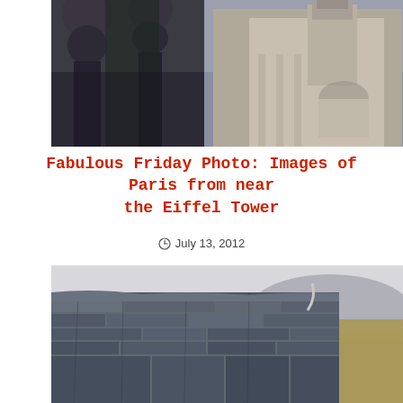[Figure (photo): Photograph of ornate stone statues/finials in foreground with a large classical stone building with tower/clock tower visible in the background against a cloudy sky, near Paris Eiffel Tower area]
Fabulous Friday Photo: Images of Paris from near the Eiffel Tower
July 13, 2012
[Figure (photo): Photograph of a dry stone wall in close foreground with moors/heathland and hills visible in the background under a pale sky]